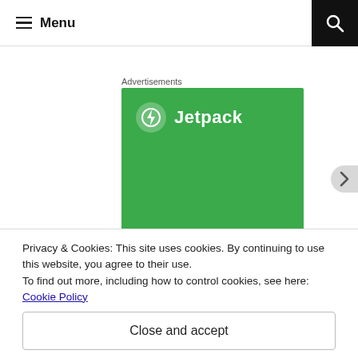≡ Menu
Advertisements
[Figure (logo): Jetpack advertisement banner with green background showing Jetpack logo (white circle with lightning bolt) and text 'Jetpack']
Privacy & Cookies: This site uses cookies. By continuing to use this website, you agree to their use.
To find out more, including how to control cookies, see here: Cookie Policy
Close and accept